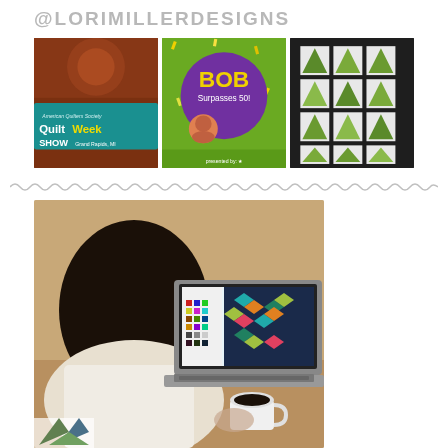@LORIMILLERDESIGNS
[Figure (photo): Three Instagram photos in a row: left shows American Quilters Society QuiltWeek Show Grand Rapids MI signage with red/orange fabric; center shows a circular purple/green promotional graphic for BOB Surpasses 50! with photo of Lori Miller; right shows a quilt with green and white flying geese blocks on dark background]
[Figure (illustration): Wavy/zigzag decorative divider line in light gray]
[Figure (photo): Woman with dark hair seen from behind, sitting at a laptop displaying quilt design software with colorful geometric quilt pattern and fabric swatches, holding a white coffee mug]